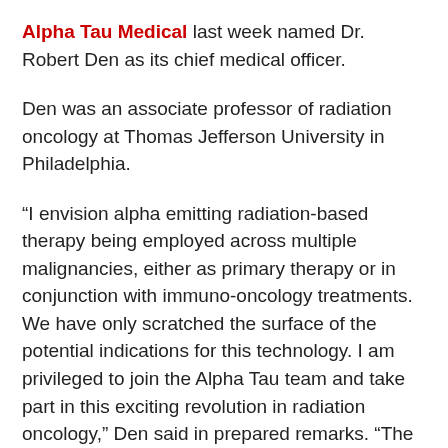Alpha Tau Medical last week named Dr. Robert Den as its chief medical officer.
Den was an associate professor of radiation oncology at Thomas Jefferson University in Philadelphia.
“I envision alpha emitting radiation-based therapy being employed across multiple malignancies, either as primary therapy or in conjunction with immuno-oncology treatments. We have only scratched the surface of the potential indications for this technology. I am privileged to join the Alpha Tau team and take part in this exciting revolution in radiation oncology,” Den said in prepared remarks. “The prospects for Alpha DaRT are tremendous, and I look forward to helping clinicians around the world